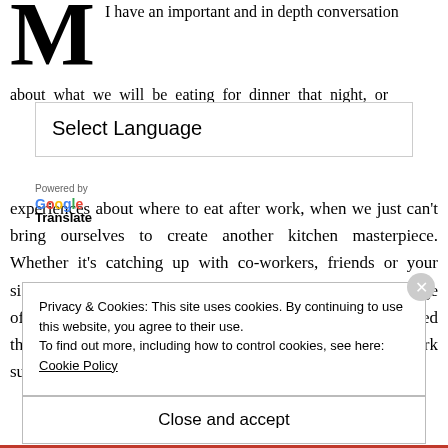M
I have an important and in depth conversation about what we will be eating for dinner that night, or
[Figure (screenshot): Select Language dropdown widget with 'Powered by Google Translate' label]
experiences about where to eat after work, when we just can't bring ourselves to create another kitchen masterpiece. Whether it's catching up with co-workers, friends or your significant other, an afterwork drink is great to take the edge off. But nothing beats a great meal to go with it. So, I searched the city for some of the best options for after work sustenance....
Privacy & Cookies: This site uses cookies. By continuing to use this website, you agree to their use.
To find out more, including how to control cookies, see here: Cookie Policy
Close and accept